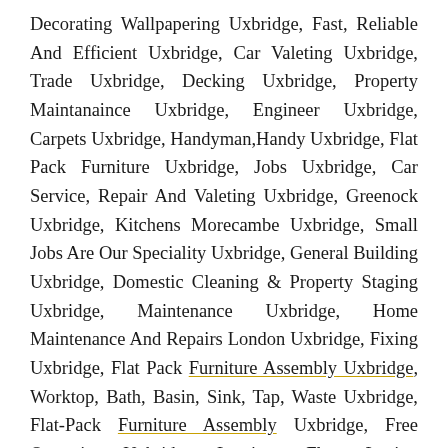Decorating Wallpapering Uxbridge, Fast, Reliable And Efficient Uxbridge, Car Valeting Uxbridge, Trade Uxbridge, Decking Uxbridge, Property Maintanaince Uxbridge, Engineer Uxbridge, Carpets Uxbridge, Handyman,Handy Uxbridge, Flat Pack Furniture Uxbridge, Jobs Uxbridge, Car Service, Repair And Valeting Uxbridge, Greenock Uxbridge, Kitchens Morecambe Uxbridge, Small Jobs Are Our Speciality Uxbridge, General Building Uxbridge, Domestic Cleaning & Property Staging Uxbridge, Maintenance Uxbridge, Home Maintenance And Repairs London Uxbridge, Fixing Uxbridge, Flat Pack Furniture Assembly Uxbridge, Worktop, Bath, Basin, Sink, Tap, Waste Uxbridge, Flat-Pack Furniture Assembly Uxbridge, Free Quotation Uxbridge, Laminate Floor Laying Uxbridge, Quick And Friendly Uxbridge, Windows And Doors Uxbridge, Electricity Works Uxbridge, Woodworking Uxbridge, Cat Flap Installation Uxbridge, Curtain Fitters Uxbridge, Deep Cleaning Services Uxbridge, Floor Fitters Uxbridge, Garden clearance Uxbridge, Garden decking Uxbridge, Garden